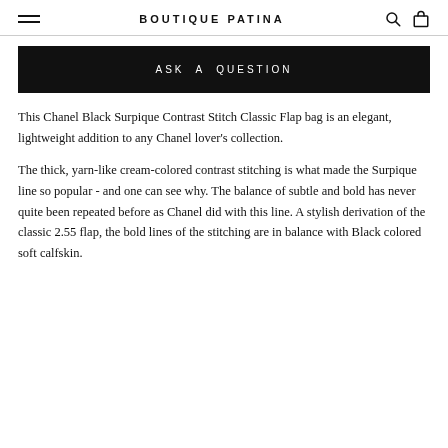BOUTIQUE PATINA
[Figure (other): Black button with white text: ASK A QUESTION]
This Chanel Black Surpique Contrast Stitch Classic Flap bag is an elegant, lightweight addition to any Chanel lover's collection.
The thick, yarn-like cream-colored contrast stitching is what made the Surpique line so popular - and one can see why. The balance of subtle and bold has never quite been repeated before as Chanel did with this line. A stylish derivation of the classic 2.55 flap, the bold lines of the stitching are in balance with Black colored soft calfskin.